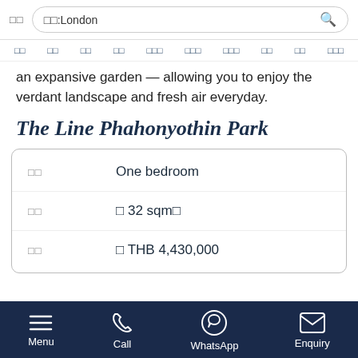□□  □□:London
□□  □□  □□  □□  □□□  □□□  □□□  □□  □□  □□□
an expansive garden — allowing you to enjoy the verdant landscape and fresh air everyday.
The Line Phahonyothin Park
| Label | Value |
| --- | --- |
| □□ | One bedroom |
| □□ | □ 32 sqm□ |
| □□ | □ THB 4,430,000 |
Menu  Call  WhatsApp  Enquiry